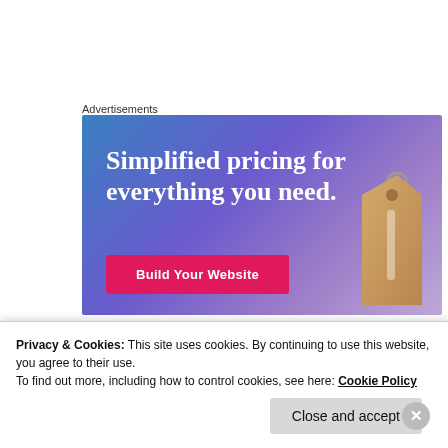Advertisements
[Figure (illustration): Advertisement banner with blue-purple gradient background showing text 'Simplified pricing for everything you need.' with a pink 'Build Your Website' button and a price tag image on the right.]
KOMAL ATER
Privacy & Cookies: This site uses cookies. By continuing to use this website, you agree to their use.
To find out more, including how to control cookies, see here: Cookie Policy
Close and accept